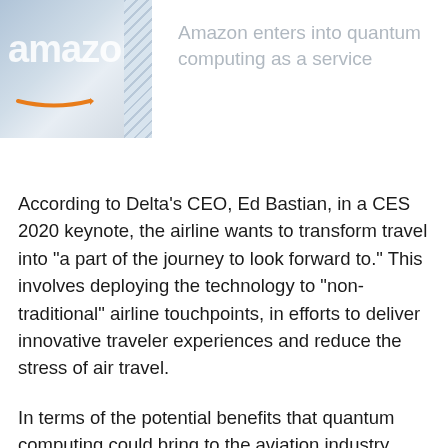[Figure (photo): Amazon logo/storefront photo, partially cropped, showing the Amazon wordmark and orange arrow logo mark on a light blue-grey background, with diagonal hatching on the right edge.]
Amazon enters into quantum computing as a service
According to Delta’s CEO, Ed Bastian, in a CES 2020 keynote, the airline wants to transform travel into “a part of the journey to look forward to.” This involves deploying the technology to “non-traditional” airline touchpoints, in efforts to deliver innovative traveler experiences and reduce the stress of air travel.
In terms of the potential benefits that quantum computing could bring to the aviation industry,